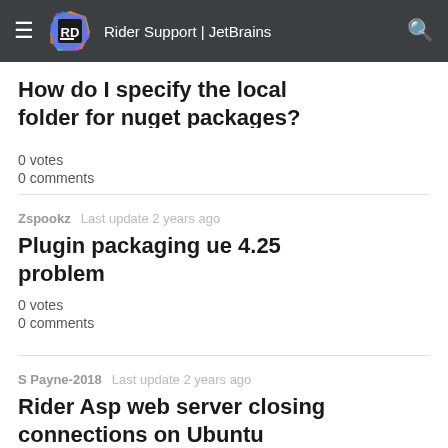Rider Support | JetBrains
How do I specify the local folder for nuget packages?
2 votes
0 comments
Zspookz   Last update 2 years ago
Plugin packaging ue 4.25 problem
0 votes
0 comments
S Payne-2018   Last update 2 years ago
Rider Asp web server closing connections on Ubuntu
0 votes
0 comments